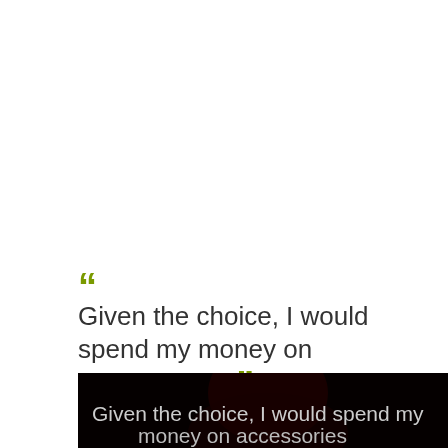“Given the choice, I would spend my money on accessories.” — Iris Apfel
[Figure (photo): Dark photograph of a person, with text overlay reading 'Given the choice, I would spend my money on accessories.']